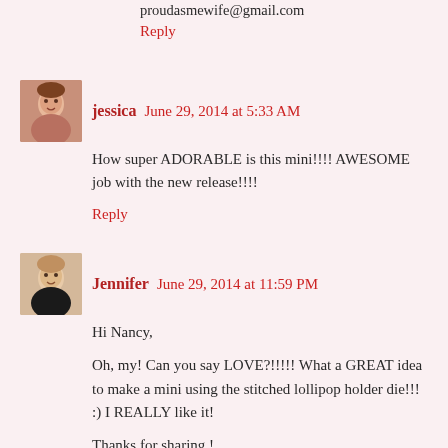proudasmewife@gmail.com
Reply
jessica  June 29, 2014 at 5:33 AM
How super ADORABLE is this mini!!!! AWESOME job with the new release!!!!
Reply
Jennifer  June 29, 2014 at 11:59 PM
Hi Nancy,
Oh, my! Can you say LOVE?!!!!! What a GREAT idea to make a mini using the stitched lollipop holder die!!! :) I REALLY like it!
Thanks for sharing !
Crafty hugs,
Jennifer